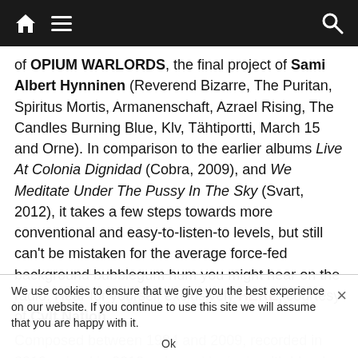[Navigation bar with home icon, hamburger menu, and search icon]
of OPIUM WARLORDS, the final project of Sami Albert Hynninen (Reverend Bizarre, The Puritan, Spiritus Mortis, Armanenschaft, Azrael Rising, The Candles Burning Blue, Klv, Tähtiportti, March 15 and Orne). In comparison to the earlier albums Live At Colonia Dignidad (Cobra, 2009), and We Meditate Under The Pussy In The Sky (Svart, 2012), it takes a few steps towards more conventional and easy-to-listen-to levels, but still can't be mistaken for the average force-fed background bubblegum hum you might hear on the radio. Hear for yourself exclusively HERE, courtesy of Cvlt Nation.
Composed between 1994 and 2009, recorded in 2010, mixed in 2013 – ripened lovingly with blood, tears, sweat, and exotic neurochemical fluids – the 72-minute Taste My Sword Of Understanding is at the same time
We use cookies to ensure that we give you the best experience on our website. If you continue to use this site we will assume that you are happy with it.